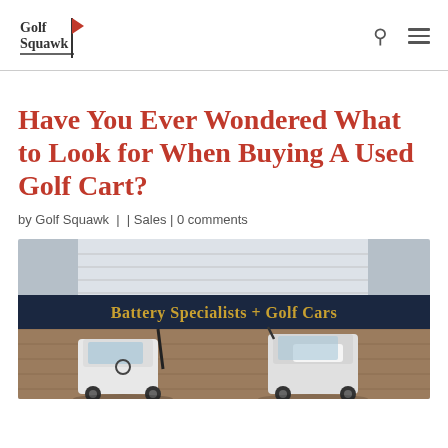Golf Squawk
Have You Ever Wondered What to Look for When Buying A Used Golf Cart?
by Golf Squawk |  | Sales | 0 comments
[Figure (photo): Photo of golf carts parked in front of a store with a sign reading 'Battery Specialists + Golf Cars']